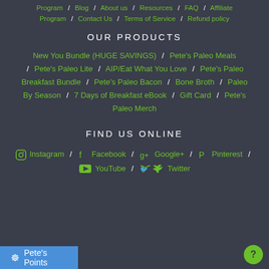Program / Blog / About us / Resources / FAQ / Affiliate Program / Contact Us / Terms of Service / Refund policy
OUR PRODUCTS
New You Bundle (HUGE SAVINGS) / Pete's Paleo Meals / Pete's Paleo Lite / AIP/Eat What You Love / Pete's Paleo Breakfast Bundle / Pete's Paleo Bacon / Bone Broth / Paleo By Season / 7 Days of Breakfast eBook / Gift Card / Pete's Paleo Merch
FIND US ONLINE
Instagram / Facebook / Google+ / Pinterest / YouTube / Twitter